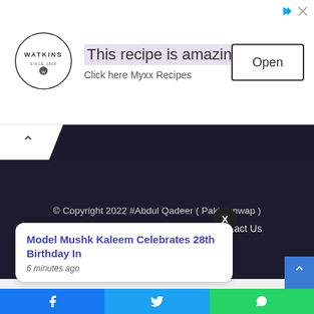[Figure (screenshot): Advertisement banner with Watkins logo, headline 'This recipe is amazing', subtext 'Click here Myxx Recipes', and an 'Open' button]
© Copyright 2022 #Abdul Qadeer ( Pakistanwap )
Home   About Us   Privacy Policy   Contact Us
Model Mushk Kaleem Celebrates 28th Birthday In
6 minutes ago